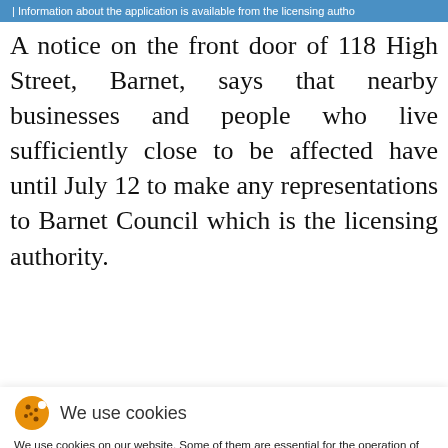Information about the application is available from the licensing autho
A notice on the front door of 118 High Street, Barnet, says that nearby businesses and people who live sufficiently close to be affected have until July 12 to make any representations to Barnet Council which is the licensing authority.
We use cookies
We use cookies on our website. Some of them are essential for the operation of the site, while others help us to improve this site and the user experience (tracking cookies). You can decide for yourself whether you want to allow cookies or not. Please note that if you reject them, you may not be able to use all the functionalities of the site.
Ok
Decline
More information